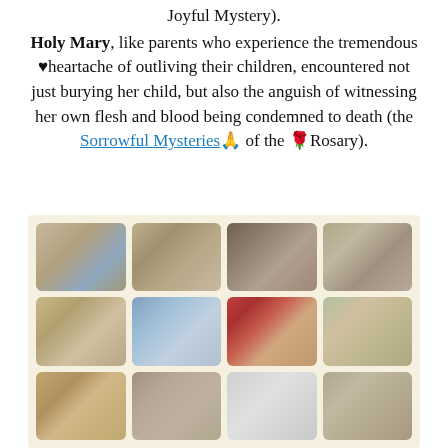Joyful Mystery). Holy Mary, like parents who experience the tremendous ♥heartache of outliving their children, encountered not just burying her child, but also the anguish of witnessing her own flesh and blood being condemned to death (the Sorrowful Mysteries🙏 of the 🌹Rosary).
[Figure (photo): A grid of 12 religious illustrations depicting scenes from the Rosary mysteries, arranged in 3 rows of 4 images each, on a beige/cream background.]